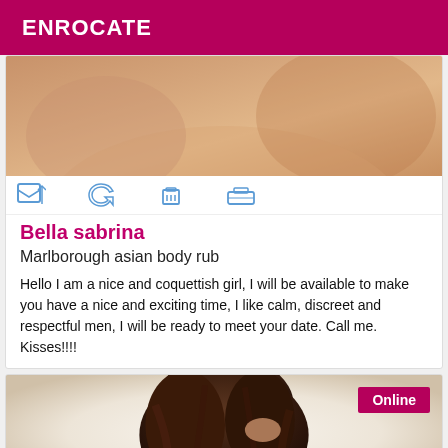ENROCATE
[Figure (photo): Cropped photo showing skin/body, warm tones, top of listing card]
Bella sabrina
Marlborough asian body rub
Hello I am a nice and coquettish girl, I will be available to make you have a nice and exciting time, I like calm, discreet and respectful men, I will be ready to meet your date. Call me. Kisses!!!!
[Figure (photo): Photo of person with dark hair from behind, hand in hair, light background, with Online badge]
Online